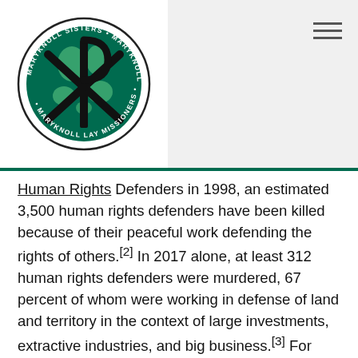[Figure (logo): Maryknoll Sisters, Maryknoll Fathers & Brothers, Maryknoll Lay Missioners circular logo with globe and cross symbol in green and black]
Human Rights Defenders in 1998, an estimated 3,500 human rights defenders have been killed because of their peaceful work defending the rights of others.[2] In 2017 alone, at least 312 human rights defenders were murdered, 67 percent of whom were working in defense of land and territory in the context of large investments, extractive industries, and big business.[3] For women defenders and members of other marginalized groups, the risks are even more acute.
Unfortunately, too often development interventions are designed and implemented without adequate consideration of the human rights context in which they are executed or the human rights impacts that